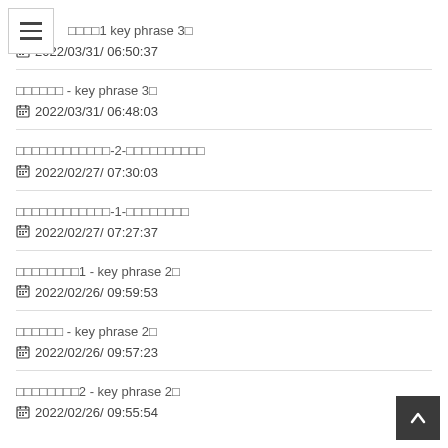□□□□1 key phrase 3□
2022/03/31/ 06:50:37
□□□□□□ - key phrase 3□
2022/03/31/ 06:48:03
□□□□□□□□□□□□-2-□□□□□□□□□□
2022/02/27/ 07:30:03
□□□□□□□□□□□□-1-□□□□□□□□
2022/02/27/ 07:27:37
□□□□□□□□1 - key phrase 2□
2022/02/26/ 09:59:53
□□□□□□ - key phrase 2□
2022/02/26/ 09:57:23
□□□□□□□□2 - key phrase 2□
2022/02/26/ 09:55:54